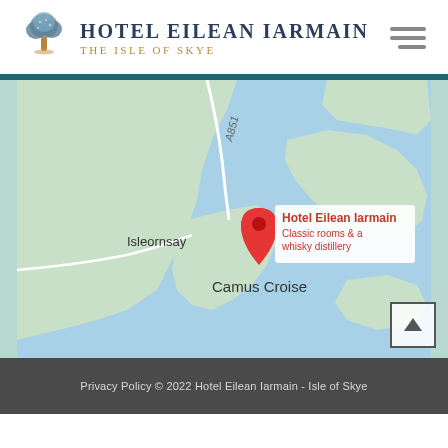[Figure (logo): Hotel Eilean Iarmain logo with tree icon, hotel name in dark navy and subtitle 'The Isle of Skye' in gold]
[Figure (map): Google Maps screenshot showing the location of Hotel Eilean Iarmain near Isleornsay and Camus Croise on the Isle of Skye. A red map pin marks the hotel with label 'Hotel Eilean Iarmain - Classic rooms & a whisky distillery'. Road A851 is visible.]
Privacy Policy © 2022 Hotel Eilean Iarmain - Isle of Skye